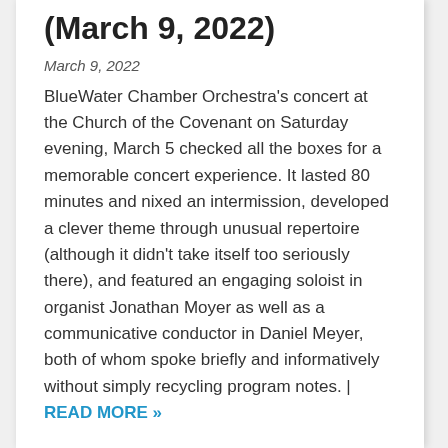(March 9, 2022)
March 9, 2022
BlueWater Chamber Orchestra's concert at the Church of the Covenant on Saturday evening, March 5 checked all the boxes for a memorable concert experience. It lasted 80 minutes and nixed an intermission, developed a clever theme through unusual repertoire (although it didn't take itself too seriously there), and featured an engaging soloist in organist Jonathan Moyer as well as a communicative conductor in Daniel Meyer, both of whom spoke briefly and informatively without simply recycling program notes. | READ MORE »